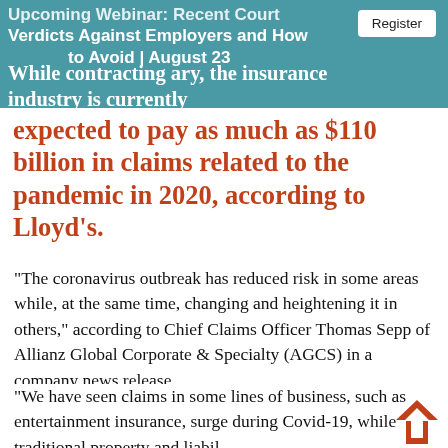Upcoming Webinar: Recent Court Verdicts Against Employers and How to Avoid | August 23
While contracting ary, the insurance industry is currently
expected to pay as much as $110 billion in claims related to the pandemic in 2020, according to Lloyd's.
“The coronavirus outbreak has reduced risk in some areas while, at the same time, changing and heightening it in others,” according to Chief Claims Officer Thomas Sepp of Allianz Global Corporate & Specialty (AGCS) in a company news release.
“We have seen claims in some lines of business, such as entertainment insurance, surge during Covid-19, while traditional property and liabil